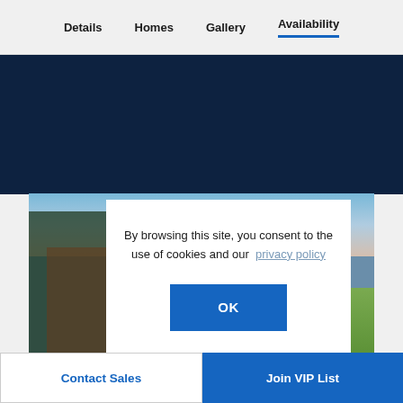Details   Homes   Gallery   Availability
[Figure (photo): Outdoor photo of a modern home with trees, pergola structure, dark architectural element, and lawn at dusk/evening light]
By browsing this site, you consent to the use of cookies and our  privacy policy
OK
Contact Sales   Join VIP List